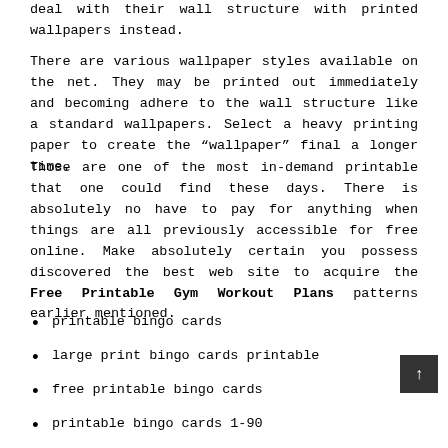deal with their wall structure with printed wallpapers instead.
There are various wallpaper styles available on the net. They may be printed out immediately and becoming adhere to the wall structure like a standard wallpapers. Select a heavy printing paper to create the “wallpaper” final a longer time.
Those are one of the most in-demand printable that one could find these days. There is absolutely no have to pay for anything when things are all previously accessible for free online. Make absolutely certain you possess discovered the best web site to acquire the Free Printable Gym Workout Plans patterns earlier mentioned.
printable bingo cards
large print bingo cards printable
free printable bingo cards
printable bingo cards 1-90